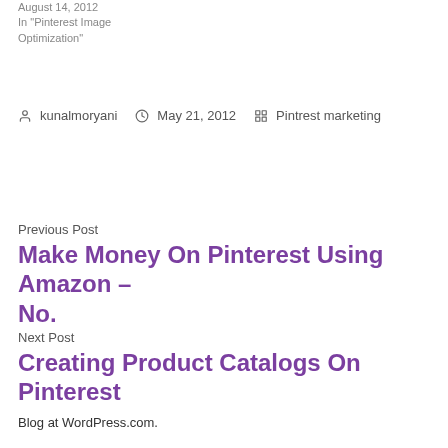August 14, 2012
In "Pinterest Image Optimization"
By kunalmoryani   May 21, 2012   Pintrest marketing
Previous Post
Make Money On Pinterest Using Amazon – No.
Next Post
Creating Product Catalogs On Pinterest
Blog at WordPress.com.